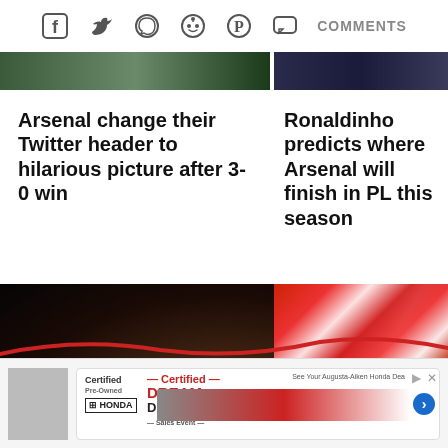[Figure (other): Social media share icons: Facebook, Twitter, WhatsApp, Reddit, Pinterest, Comments button]
[Figure (photo): Two cropped photos at top: left is a green outdoor scene, right is a dark blue scene]
Arsenal change their Twitter header to hilarious picture after 3-0 win
Ronaldinho predicts where Arsenal will finish in PL this season
[Figure (photo): Photo of Ronaldinho smiling, wearing a black beanie and black jacket, against a blue background]
[Figure (photo): Photo of Arsenal players celebrating in red and white kits, with a gold 'Replies' button overlay]
[Figure (other): Certified Pre-Owned Honda advertisement banner with cars and Dream Deal text]